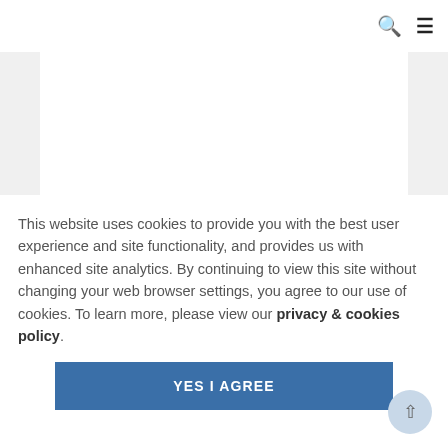Search | Menu
[Figure (logo): Partial blue curved logo mark visible at bottom-left of white card area]
This website uses cookies to provide you with the best user experience and site functionality, and provides us with enhanced site analytics. By continuing to view this site without changing your web browser settings, you agree to our use of cookies. To learn more, please view our privacy & cookies policy.
YES I AGREE